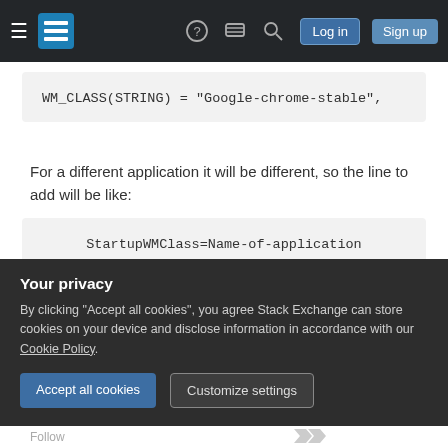Stack Exchange navigation bar with hamburger menu, logo, help, chat, search, Log in, Sign up buttons
WM_CLASS(STRING) = "Google-chrome-stable",
For a different application it will be different, so the line to add will be like:
StartupWMClass=Name-of-application
After adding the line, be sure you removed the previous launcher then start the application and right clicking on its dock icon check 'Keep in
Your privacy
By clicking "Accept all cookies", you agree Stack Exchange can store cookies on your device and disclose information in accordance with our Cookie Policy.
Accept all cookies    Customize settings